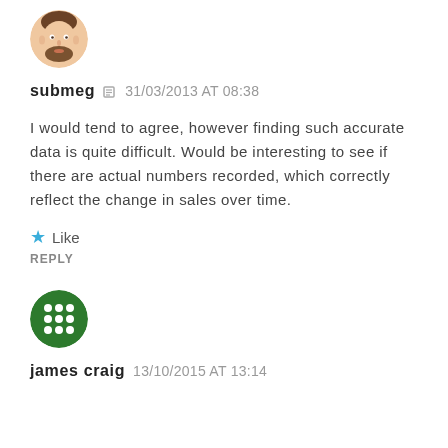[Figure (illustration): Circular avatar of user 'submeg' — cartoon face of a man with beard]
submeg   31/03/2013 AT 08:38
I would tend to agree, however finding such accurate data is quite difficult. Would be interesting to see if there are actual numbers recorded, which correctly reflect the change in sales over time.
★ Like
REPLY
[Figure (logo): Circular avatar of user 'james craig' — green and white grid/dots logo]
james craig   13/10/2015 AT 13:14